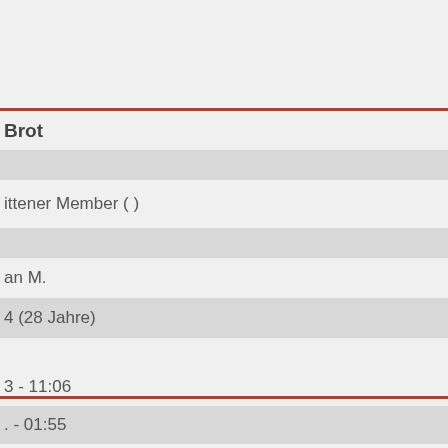Brot
ittener Member (  )
an M.
4 (28 Jahre)
3 - 11:06
. - 01:55